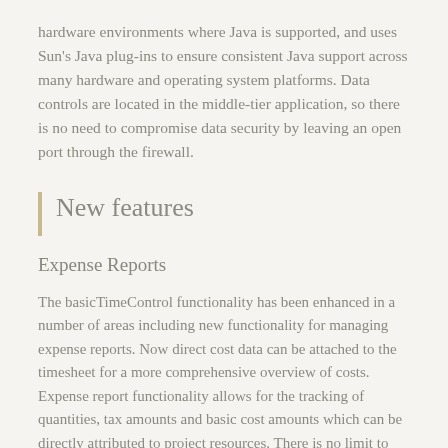hardware environments where Java is supported, and uses Sun's Java plug-ins to ensure consistent Java support across many hardware and operating system platforms. Data controls are located in the middle-tier application, so there is no need to compromise data security by leaving an open port through the firewall.
New features
Expense Reports
The basicTimeControl functionality has been enhanced in a number of areas including new functionality for managing expense reports. Now direct cost data can be attached to the timesheet for a more comprehensive overview of costs. Expense report functionality allows for the tracking of quantities, tax amounts and basic cost amounts which can be directly attributed to project resources. There is no limit to the number of expense report items